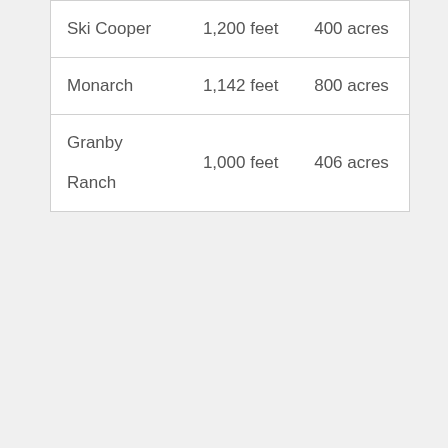| Ski Cooper | 1,200 feet | 400 acres |
| Monarch | 1,142 feet | 800 acres |
| Granby Ranch | 1,000 feet | 406 acres |